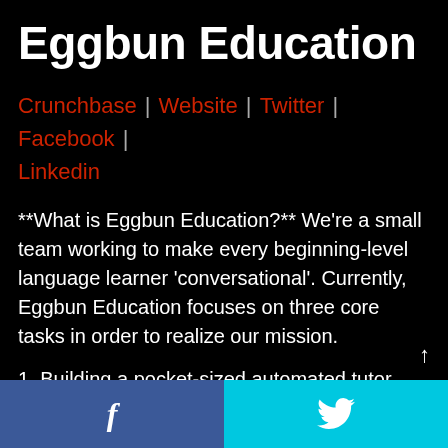Eggbun Education
Crunchbase | Website | Twitter | Facebook | Linkedin
**What is Eggbun Education?** We're a small team working to make every beginning-level language learner 'conversational'. Currently, Eggbun Education focuses on three core tasks in order to realize our mission.
1. Building a pocket-sized automated tutor.
f  [Twitter bird icon]